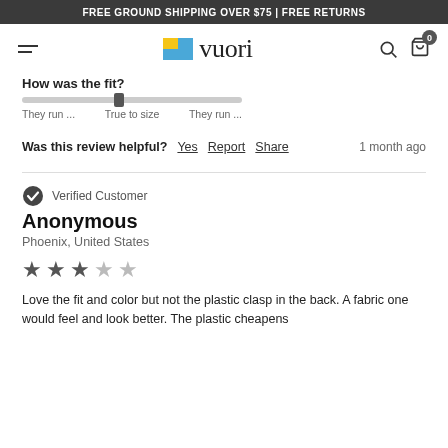FREE GROUND SHIPPING OVER $75 | FREE RETURNS
[Figure (logo): Vuori logo with yellow-blue square icon and 'vuori' wordmark]
How was the fit?
[Figure (infographic): Fit slider showing position at True to size, with labels: They run ... True to size They run ...]
Was this review helpful? Yes Report Share 1 month ago
Verified Customer
Anonymous
Phoenix, United States
[Figure (infographic): 3 out of 5 stars rating]
Love the fit and color but not the plastic clasp in the back. A fabric one would feel and look better. The plastic cheapens